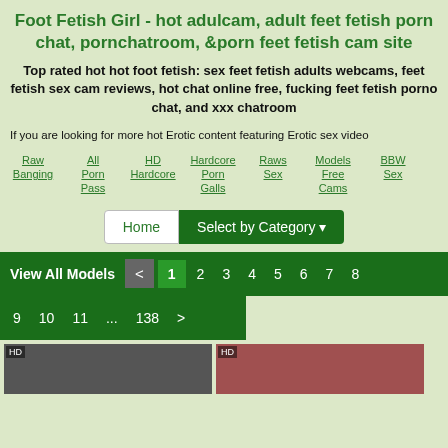Foot Fetish Girl - hot adulcam, adult feet fetish porn chat, pornchatroom, & porn feet fetish cam site
Top rated hot hot foot fetish: sex feet fetish adults webcams, feet fetish sex cam reviews, hot chat online free, fucking feet fetish porno chat, and xxx chatroom
If you are looking for more hot Erotic content featuring Erotic sex video
Raw Banging
All Porn Pass
HD Hardcore
Hardcore Porn Galls
Raws Sex
Models Free Cams
BBW Sex
Home | Select by Category
View All Models < 1 2 3 4 5 6 7 8 9 10 11 ... 138 >
[Figure (photo): Two thumbnail images at bottom of page]